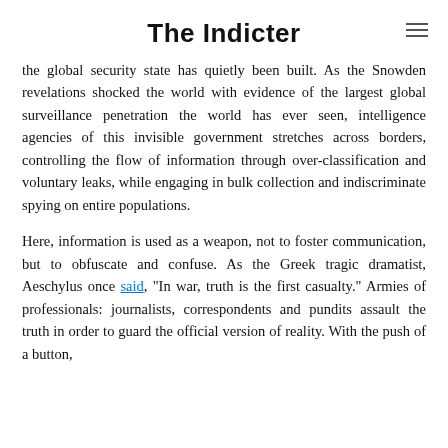The Indicter
the global security state has quietly been built. As the Snowden revelations shocked the world with evidence of the largest global surveillance penetration the world has ever seen, intelligence agencies of this invisible government stretches across borders, controlling the flow of information through over-classification and voluntary leaks, while engaging in bulk collection and indiscriminate spying on entire populations.
Here, information is used as a weapon, not to foster communication, but to obfuscate and confuse. As the Greek tragic dramatist, Aeschylus once said, “In war, truth is the first casualty.” Armies of professionals: journalists, correspondents and pundits assault the truth in order to guard the official version of reality. With the push of a button,